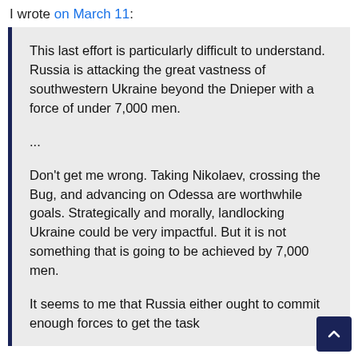I wrote on March 11:
This last effort is particularly difficult to understand. Russia is attacking the great vastness of southwestern Ukraine beyond the Dnieper with a force of under 7,000 men.
...
Don't get me wrong. Taking Nikolaev, crossing the Bug, and advancing on Odessa are worthwhile goals. Strategically and morally, landlocking Ukraine could be very impactful. But it is not something that is going to be achieved by 7,000 men.
It seems to me that Russia either ought to commit enough forces to get the task